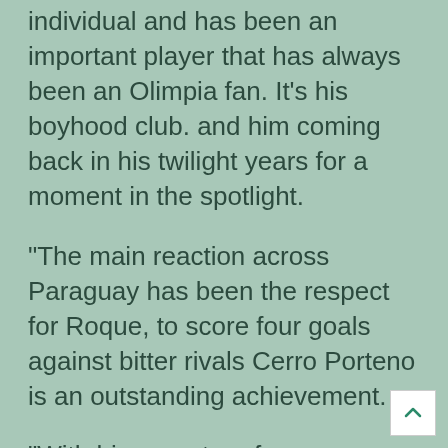individual and has been an important player that has always been an Olimpia fan. It's his boyhood club. and him coming back in his twilight years for a moment in the spotlight.
“The main reaction across Paraguay has been the respect for Roque, to score four goals against bitter rivals Cerro Porteno is an outstanding achievement.
“With his recent performances, there is talk about him maybe coming back to the national team,
“On a personal level, I don’t see it happening, just because of his age and I don’t care how good his form is I would not want a 38-year-old on my team